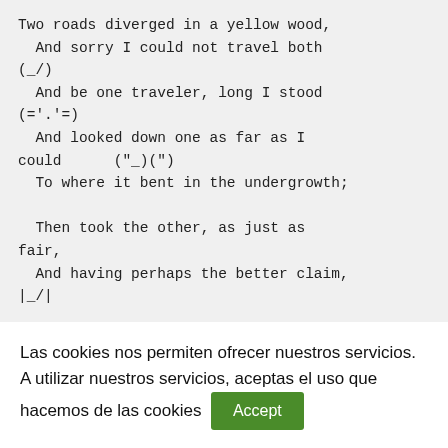Two roads diverged in a yellow wood,
  And sorry I could not travel both
(_/)
  And be one traveler, long I stood
(='.'=)
  And looked down one as far as I
could      ("_)(")
  To where it bent in the undergrowth;

  Then took the other, as just as
fair,
  And having perhaps the better claim,
|_/|
Las cookies nos permiten ofrecer nuestros servicios. A utilizar nuestros servicios, aceptas el uso que hacemos de las cookies